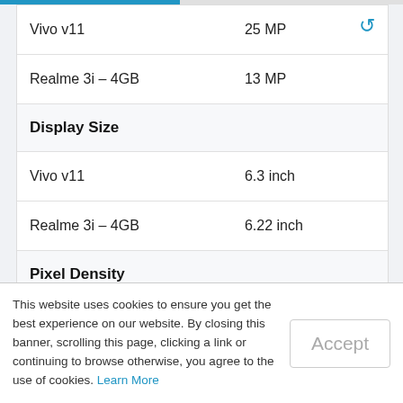|  |  |
| --- | --- |
| Vivo v11 | 25 MP |
| Realme 3i – 4GB | 13 MP |
| Display Size |  |
| Vivo v11 | 6.3 inch |
| Realme 3i – 4GB | 6.22 inch |
| Pixel Density |  |
This website uses cookies to ensure you get the best experience on our website. By closing this banner, scrolling this page, clicking a link or continuing to browse otherwise, you agree to the use of cookies. Learn More